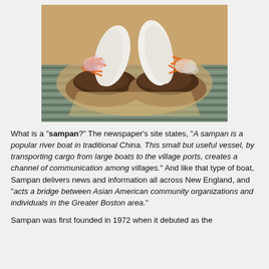[Figure (photo): Two bao buns filled with braised meat and topped with shredded carrots and pickled vegetables, served on a wooden board with a striped cloth underneath.]
What is a "sampan?" The newspaper's site states, "A sampan is a popular river boat in traditional China. This small but useful vessel, by transporting cargo from large boats to the village ports, creates a channel of communication among villages." And like that type of boat, Sampan delivers news and information all across New England, and "acts a bridge between Asian American community organizations and individuals in the Greater Boston area."
Sampan was first founded in 1972 when it debuted as the...